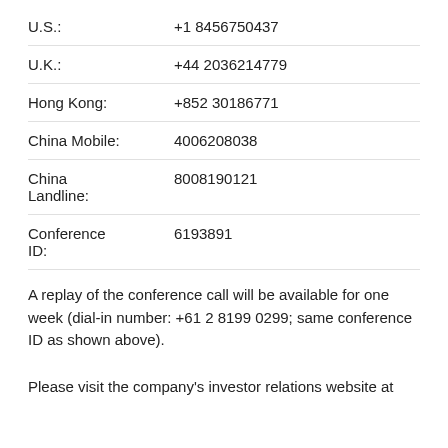| Location | Number |
| --- | --- |
| U.S.: | +1 8456750437 |
| U.K.: | +44 2036214779 |
| Hong Kong: | +852 30186771 |
| China Mobile: | 4006208038 |
| China Landline: | 8008190121 |
| Conference ID: | 6193891 |
A replay of the conference call will be available for one week (dial-in number: +61 2 8199 0299; same conference ID as shown above).
Please visit the company's investor relations website at